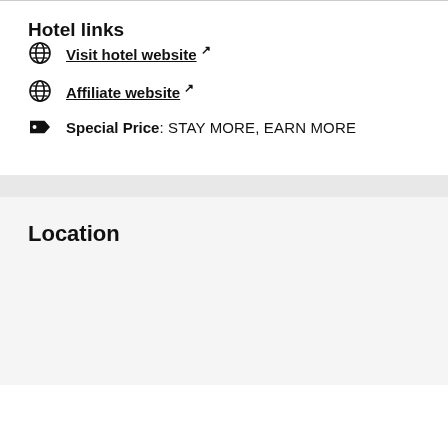Hotel links
Visit hotel website ↗
Affiliate website ↗
Special Price: STAY MORE, EARN MORE
Location